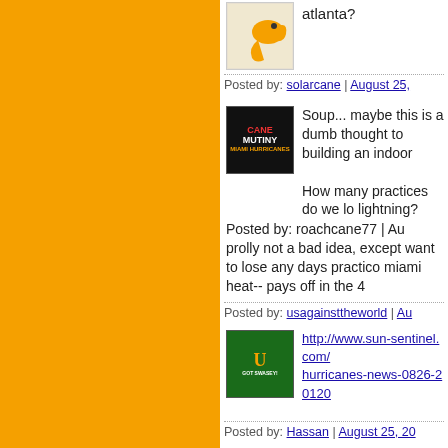atlanta?
Posted by: solarcane | August 25,
Soup... maybe this is a dumb thought to building an indoor
How many practices do we lo lightning?
Posted by: roachcane77 | Au
prolly not a bad idea, except want to lose any days practico miami heat-- pays off in the 4
Posted by: usagainsttheworld | Au
http://www.sun-sentinel.com/ hurricanes-news-0826-20120
Posted by: Hassan | August 25, 20